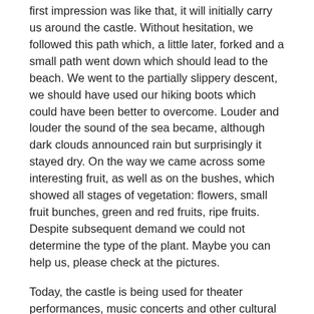first impression was like that, it will initially carry us around the castle. Without hesitation, we followed this path which, a little later, forked and a small path went down which should lead to the beach. We went to the partially slippery descent, we should have used our hiking boots which could have been better to overcome. Louder and louder the sound of the sea became, although dark clouds announced rain but surprisingly it stayed dry. On the way we came across some interesting fruit, as well as on the bushes, which showed all stages of vegetation: flowers, small fruit bunches, green and red fruits, ripe fruits. Despite subsequent demand we could not determine the type of the plant. Maybe you can help us, please check at the pictures.
Today, the castle is being used for theater performances, music concerts and other cultural events. In Platamonas there are several campsites and numerous hotels, inns and cottages, but they were almost completely closed. The beach combines rocks, pebbles and sand, of which the summit of Mount Olympus can be seen. For the clear water and the clean harbor Platamonas was awarded the Blue Flag of the EU in 2002 and 2006. Today, however, it was very stormy, so the waves whipped on the beach.
We discovered the remains of a railway line that once ran along the beach. What an interesting way to create a cycle path along the coast. Why not even built a connection until Rapsani.
Our way back to the car then proceeded along a street with little